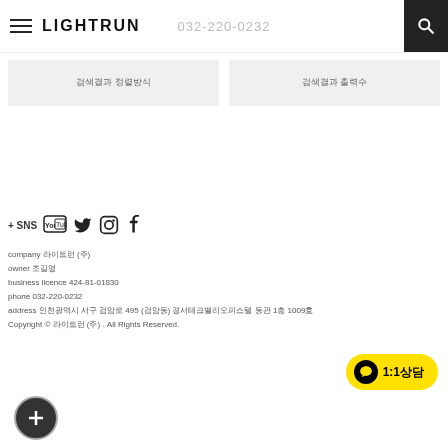LIGHTRUN  032-220-0232
검색결과 정렬방식
검색결과 출력수
[Figure (logo): SNS social media icons: YouTube, Twitter, Instagram, Facebook]
+ SNS
company 라이트런 (주)
owner 조길영
business licence 424-81-01830
phone 032-220-0232
address 인천광역시 서구 검암로 495 (검암동) 경서테크밸리오피스텔 동관 1층 1009호
Copyright © 라이트런 (주) . All Rights Reserved.